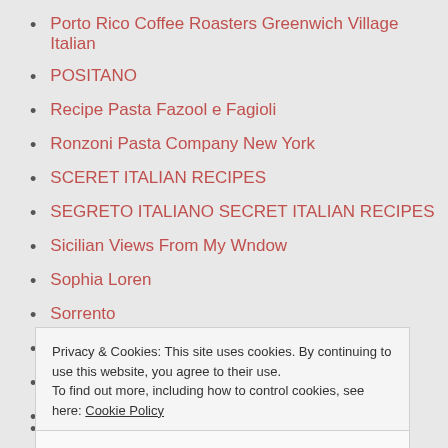Porto Rico Coffee Roasters Greenwich Village Italian
POSITANO
Recipe Pasta Fazool e Fagioli
Ronzoni Pasta Company New York
SCERET ITALIAN RECIPES
SEGRETO ITALIANO SECRET ITALIAN RECIPES
Sicilian Views From My Wndow
Sophia Loren
Sorrento
Spaghetti Sauce
Spaghetti Sauce Cookbook
Speaking Italian
Privacy & Cookies: This site uses cookies. By continuing to use this website, you agree to their use. To find out more, including how to control cookies, see here: Cookie Policy
The BELLINO NEGRONI